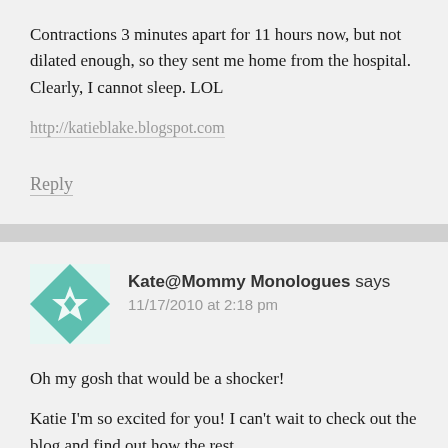Contractions 3 minutes apart for 11 hours now, but not dilated enough, so they sent me home from the hospital. Clearly, I cannot sleep. LOL
http://katieblake.blogspot.com
Reply
Kate@Mommy Monologues says
11/17/2010 at 2:18 pm
Oh my gosh that would be a shocker!
Katie I'm so excited for you! I can't wait to check out the blog and find out how the rest